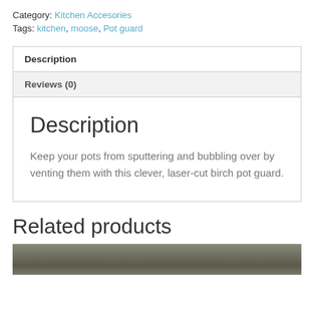Category: Kitchen Accesories
Tags: kitchen, moose, Pot guard
Description
Reviews (0)
Description
Keep your pots from sputtering and bubbling over by venting them with this clever, laser-cut birch pot guard.
Related products
[Figure (photo): Partial photo of a related product at the bottom of the page]